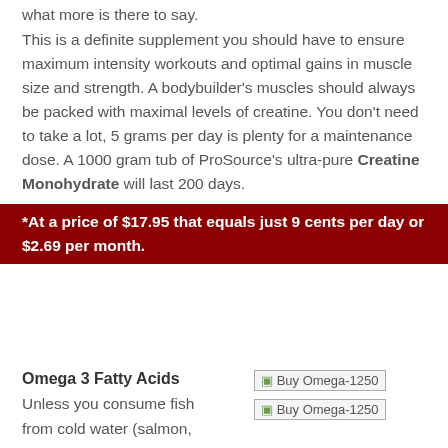what more is there to say.
This is a definite supplement you should have to ensure maximum intensity workouts and optimal gains in muscle size and strength. A bodybuilder's muscles should always be packed with maximal levels of creatine. You don't need to take a lot, 5 grams per day is plenty for a maintenance dose. A 1000 gram tub of ProSource's ultra-pure Creatine Monohydrate will last 200 days.
*At a price of $17.95 that equals just 9 cents per day or $2.69 per month.
Omega 3 Fatty Acids
Unless you consume fish from cold water (salmon,
[Figure (other): Buy Omega-1250 product image placeholder (broken image icon with alt text 'Buy Omega-1250')]
[Figure (other): Buy Omega-1250 product image placeholder (broken image icon with alt text 'Buy Omega-1250')]